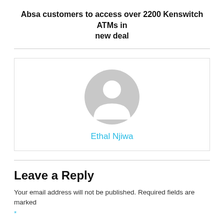Absa customers to access over 2200 Kenswitch ATMs in new deal
[Figure (illustration): Generic user avatar (grey silhouette circle) representing author Ethal Njiwa]
Ethal Njiwa
Leave a Reply
Your email address will not be published. Required fields are marked *